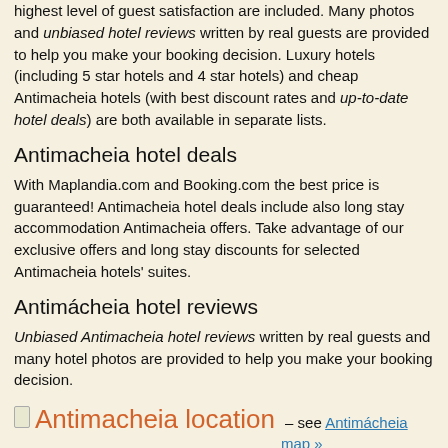highest level of guest satisfaction are included. Many photos and unbiased hotel reviews written by real guests are provided to help you make your booking decision. Luxury hotels (including 5 star hotels and 4 star hotels) and cheap Antimacheia hotels (with best discount rates and up-to-date hotel deals) are both available in separate lists.
Antimacheia hotel deals
With Maplandia.com and Booking.com the best price is guaranteed! Antimacheia hotel deals include also long stay accommodation Antimacheia offers. Take advantage of our exclusive offers and long stay discounts for selected Antimacheia hotels' suites.
Antimácheia hotel reviews
Unbiased Antimacheia hotel reviews written by real guests and many hotel photos are provided to help you make your booking decision.
Antimacheia location – see Antimácheia map »
Antimácheia is located in Dhodhekanisos, Dodekanissa,